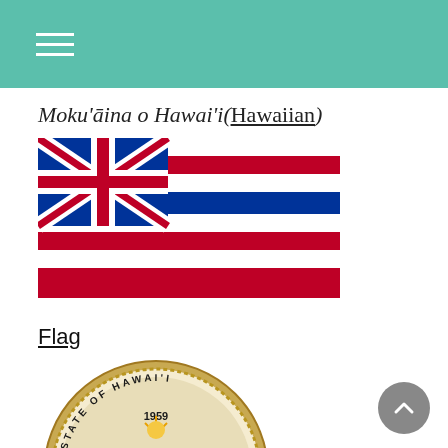Moku'āina o Hawai'i (Hawaiian)
[Figure (illustration): Flag of Hawaii — horizontal stripes of white, red, and blue with the Union Jack in the upper left canton]
Flag
[Figure (illustration): Seal of the State of Hawaii — circular seal dated 1959 with the State of Hawaii inscription, featuring figures, a shield, sun, and foliage]
Seal
Nickname(s):
The Aloha State (official), Paradise of the